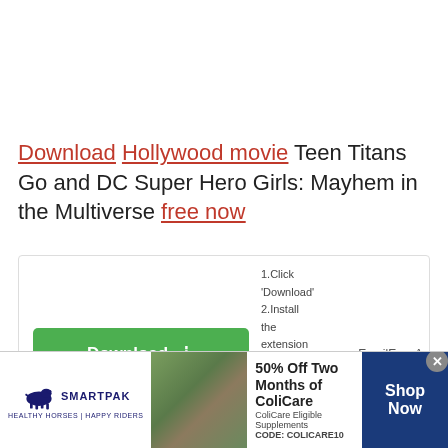Download Hollywood movie Teen Titans Go and DC Super Hero Girls: Mayhem in the Multiverse free now
[Figure (infographic): Green download button with arrow icon, steps (1.Click 'Download', 2.Install the extension from the website, 3.Open new tab and enjoy), divider, and EmailEasyAccess label]
Synopsis
[Figure (infographic): SmartPak advertisement banner: SmartPak logo with horse, product photo with horse and rider, '50% Off Two Months of ColiCare, ColiCare Eligible Supplements, CODE: COLICARE10', Shop Now button]